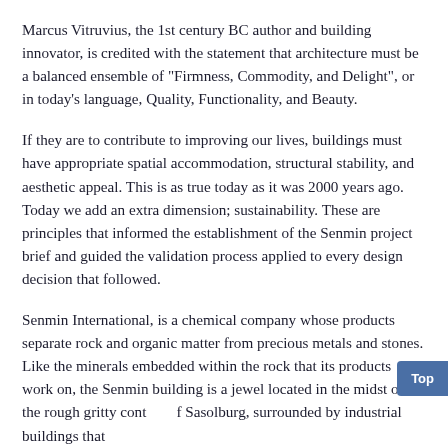Marcus Vitruvius, the 1st century BC author and building innovator, is credited with the statement that architecture must be a balanced ensemble of "Firmness, Commodity, and Delight", or in today's language, Quality, Functionality, and Beauty.
If they are to contribute to improving our lives, buildings must have appropriate spatial accommodation, structural stability, and aesthetic appeal. This is as true today as it was 2000 years ago. Today we add an extra dimension; sustainability. These are principles that informed the establishment of the Senmin project brief and guided the validation process applied to every design decision that followed.
Senmin International, is a chemical company whose products separate rock and organic matter from precious metals and stones. Like the minerals embedded within the rock that its products work on, the Senmin building is a jewel located in the midst of the rough gritty cont of Sasolburg, surrounded by industrial buildings that